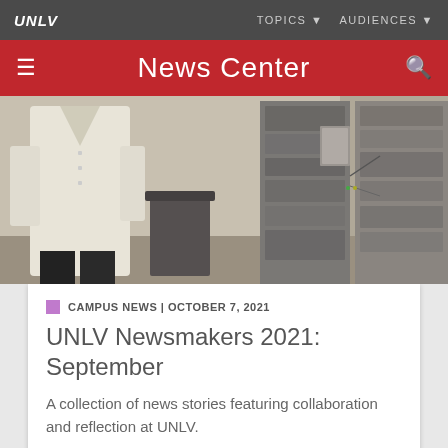UNLV | TOPICS ▼  AUDIENCES ▼
News Center
[Figure (photo): Person in white lab coat standing next to scientific equipment racks in a laboratory setting]
CAMPUS NEWS | OCTOBER 7, 2021
UNLV Newsmakers 2021: September
A collection of news stories featuring collaboration and reflection at UNLV.
All Articles Featuring Evelyn Montalvo Stanton